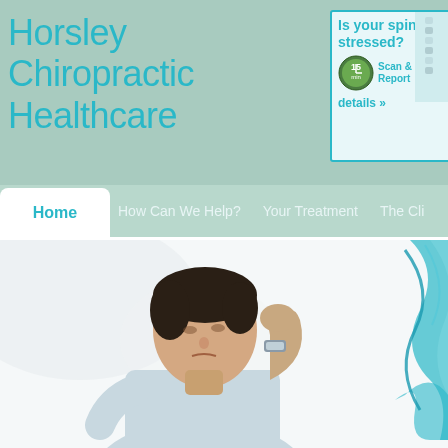Horsley Chiropractic Healthcare
[Figure (advertisement): Ad banner: 'Is your spine stressed? 15 min Scan & Report details»' with spine/pills imagery]
[Figure (infographic): Navigation bar with Home (active), How Can We Help?, Your Treatment, The Cli... menu items on sage green background]
[Figure (photo): Hero photo of a man in a light blue shirt holding his neck in pain, seated at a desk, with teal decorative swirls on the right side]